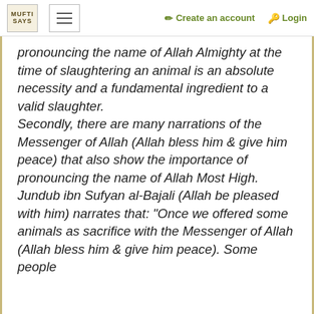MUFTI SAYS | ☰ | Create an account | Login
pronouncing the name of Allah Almighty at the time of slaughtering an animal is an absolute necessity and a fundamental ingredient to a valid slaughter. Secondly, there are many narrations of the Messenger of Allah (Allah bless him & give him peace) that also show the importance of pronouncing the name of Allah Most High. Jundub ibn Sufyan al-Bajali (Allah be pleased with him) narrates that: "Once we offered some animals as sacrifice with the Messenger of Allah (Allah bless him & give him peace). Some people